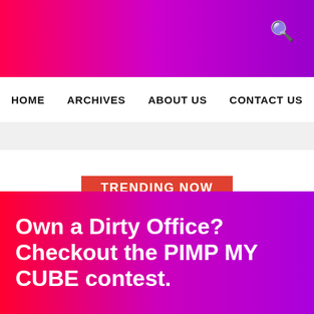[Figure (other): Gradient header bar from red to purple with a search icon in the top right corner]
HOME   ARCHIVES   ABOUT US   CONTACT US
TRENDING NOW
4 Ways New Digital Tech Has Impacted Modern
INTERNET   GADGETS   IPHONE
Own a Dirty Office? Checkout the PIMP MY CUBE contest.